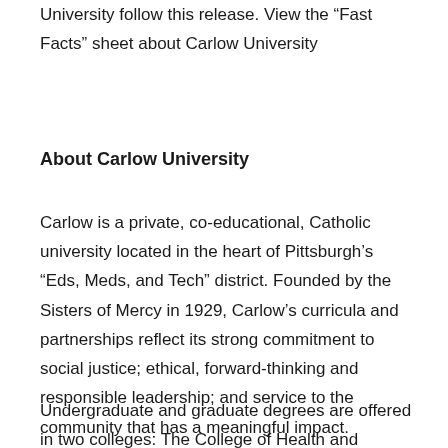University follow this release. View the “Fast Facts” sheet about Carlow University
About Carlow University
Carlow is a private, co-educational, Catholic university located in the heart of Pittsburgh’s “Eds, Meds, and Tech” district. Founded by the Sisters of Mercy in 1929, Carlow’s curricula and partnerships reflect its strong commitment to social justice; ethical, forward-thinking and responsible leadership; and service to the community that has a meaningful impact.
Undergraduate and graduate degrees are offered in two colleges: The College of Health and Wellness and